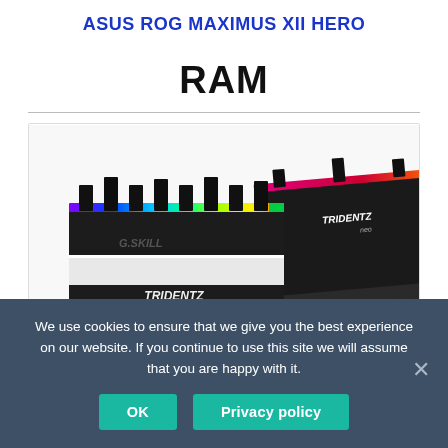ASUS ROG MAXIMUS XII HERO
RAM
[Figure (photo): Two G.SKILL Trident Z Neo DDR4 RAM sticks with RGB lighting, displayed at an angle showing their black heatspreaders and colorful RGB strip.]
We use cookies to ensure that we give you the best experience on our website. If you continue to use this site we will assume that you are happy with it.